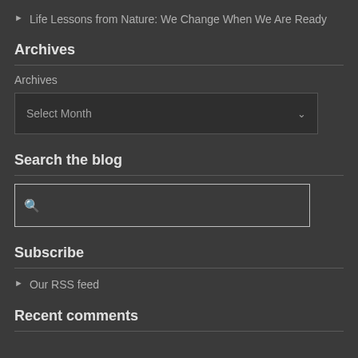Life Lessons from Nature: We Change When We Are Ready
Archives
Archives
Search the blog
Subscribe
Our RSS feed
Recent comments